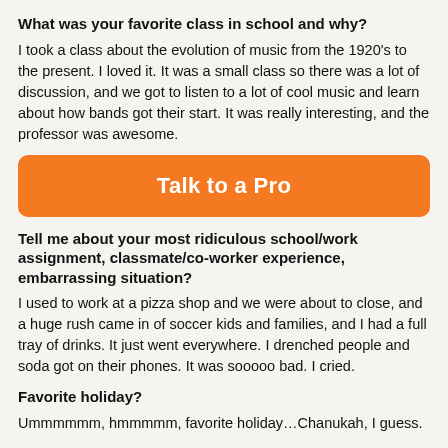What was your favorite class in school and why?
I took a class about the evolution of music from the 1920's to the present. I loved it. It was a small class so there was a lot of discussion, and we got to listen to a lot of cool music and learn about how bands got their start. It was really interesting, and the professor was awesome.
[Figure (other): Orange call-to-action button with white bold text reading 'Talk to a Pro']
Tell me about your most ridiculous school/work assignment, classmate/co-worker experience, embarrassing situation?
I used to work at a pizza shop and we were about to close, and a huge rush came in of soccer kids and families, and I had a full tray of drinks. It just went everywhere. I drenched people and soda got on their phones. It was sooooo bad. I cried.
Favorite holiday?
Ummmmmm, hmmmmm, favorite holiday…Chanukah, I guess.